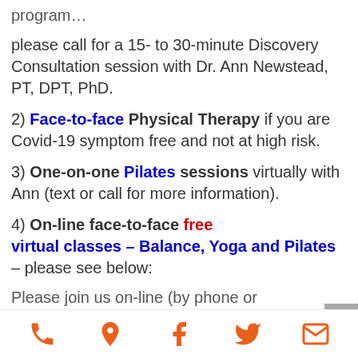program…
please call for a 15- to 30-minute Discovery Consultation session with Dr. Ann Newstead, PT, DPT, PhD.
2) Face-to-face Physical Therapy if you are Covid-19 symptom free and not at high risk.
3) One-on-one Pilates sessions virtually with Ann (text or call for more information).
4) On-line face-to-face free virtual classes – Balance, Yoga and Pilates – please see below:
Please join us on-line (by phone or
phone icon, location icon, facebook icon, twitter icon, mail icon